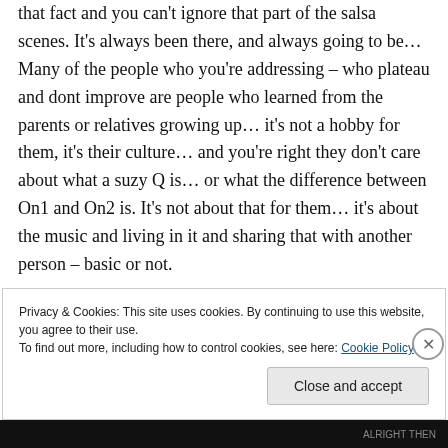that fact and you can't ignore that part of the salsa scenes. It's always been there, and always going to be… Many of the people who you're addressing – who plateau and dont improve are people who learned from the parents or relatives growing up… it's not a hobby for them, it's their culture… and you're right they don't care about what a suzy Q is… or what the difference between On1 and On2 is. It's not about that for them… it's about the music and living in it and sharing that with another person – basic or not.
Privacy & Cookies: This site uses cookies. By continuing to use this website, you agree to their use.
To find out more, including how to control cookies, see here: Cookie Policy